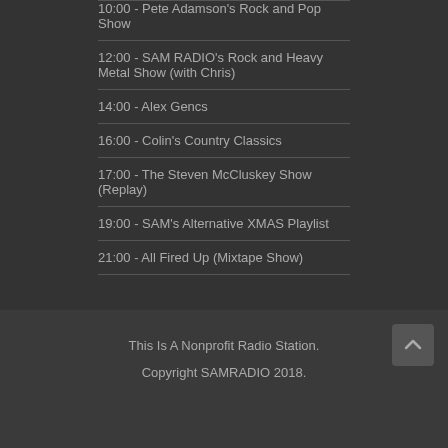10:00 - Pete Adamson's Rock and Pop Show
12:00 - SAM RADIO's Rock and Heavy Metal Show (with Chris)
14:00 - Alex Gencs
16:00 - Colin's Country Classics
17:00 - The Steven McCluskey Show (Replay)
19:00 - SAM's Alternative XMAS Playlist
21:00 - All Fired Up (Mixtape Show)
This Is A Nonprofit Radio Station.

Copyright SAMRADIO 2018.